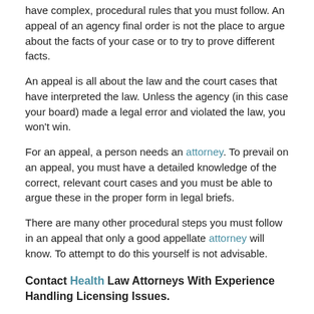have complex, procedural rules that you must follow. An appeal of an agency final order is not the place to argue about the facts of your case or to try to prove different facts.
An appeal is all about the law and the court cases that have interpreted the law. Unless the agency (in this case your board) made a legal error and violated the law, you won't win.
For an appeal, a person needs an attorney. To prevail on an appeal, you must have a detailed knowledge of the correct, relevant court cases and you must be able to argue these in the proper form in legal briefs.
There are many other procedural steps you must follow in an appeal that only a good appellate attorney will know. To attempt to do this yourself is not advisable.
Contact Health Law Attorneys With Experience Handling Licensing Issues.
If you have had a license suspended or revoked, or are facing imminent action against your license, it is imperative that you contact an experienced healthcare attorney to assist you in defending your career.  Remember, your license is your livelihood, it is not recommended that you attempt to pursue these matters without the